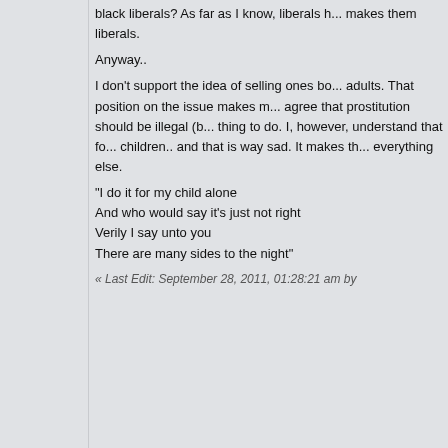black liberals? As far as I know, liberals h... makes them liberals.

Anyway..

I don't support the idea of selling ones bo... adults. That position on the issue makes m... agree that prostitution should be illegal (b... thing to do. I, however, understand that fo... children.. and that is way sad. It makes th... everything else.

"I do it for my child alone
And who would say it's just not right
Verily I say unto you
There are many sides to the night"
« Last Edit: September 28, 2011, 01:28:21 am by
press the little black on silver arrow Music, 1) Bob
http://www.4shared.com/file/114179563/3697e43
nemesis
Posts: 526
Re: "Goddess" temples busted in prostitution sting - many arrests a... charges
« Reply #37 on: September 30, 2011, 07:43:41 a